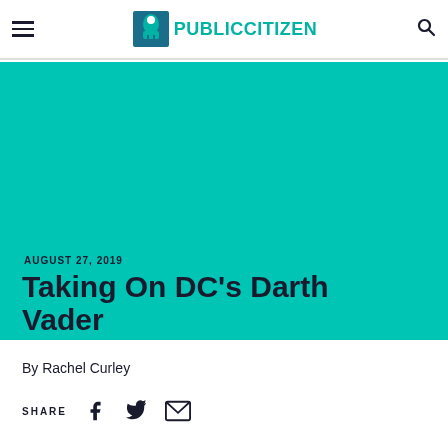PUBLIC CITIZEN
[Figure (illustration): Teal/cyan hero banner background for article header]
AUGUST 27, 2019
Taking On DC's Darth Vader
By Rachel Curley
SHARE (Facebook, Twitter, Email icons)